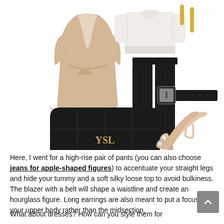[Figure (illustration): Fashion flat lay outfit collage showing: a beige/tan wrap blazer coat with belt, a white/cream silky blouse, black straight-leg trousers, long gold bar earrings, a black leather YSL quilted crossbody bag with gold hardware, a black leather belt with silver buckle, and nude pink pointed-toe kitten heels with crystal embellishment.]
Here, I went for a high-rise pair of pants (you can also choose jeans for apple-shaped figures) to accentuate your straight legs and hide your tummy and a soft silky loose top to avoid bulkiness. The blazer with a belt will shape a waistline and create an hourglass figure. Long earrings are also meant to put a focus on your upper body rather than the midsection.
What about dresses? How can you style them for